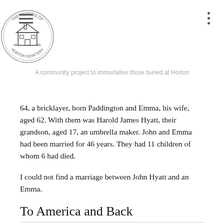A community project to immortalise those buried at Horton
64, a bricklayer, born Paddington and Emma, his wife, aged 62. With them was Harold James Hyatt, their grandson, aged 17, an umbrella maker. John and Emma had been married for 46 years. They had 11 children of whom 6 had died.
I could not find a marriage between John Hyatt and an Emma.
To America and Back
On 1 June 1915 the New York State Census was taken. In the Rochester Ward, Monroe, New York, lived George Hyatt, head, aged 37, Rose F., his wife, aged 36, and their children Frederick H., age 4 and